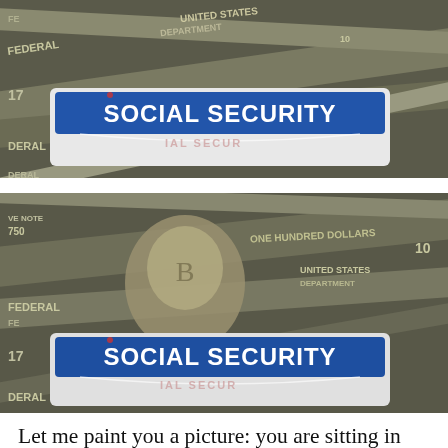[Figure (photo): Photo of a Social Security card placed on top of US dollar bills (currency notes). The blue Social Security card is prominently visible with text 'SOCIAL SECURITY' in white letters on a blue banner. Partial text visible on currency: FEDERAL, NOTE, UNITED STATES, ONE HUNDRED DOLLARS, 17.]
[Figure (photo): Second photo of a Social Security card placed on top of US dollar bills. Similar composition to the first photo. Text visible includes: FEDERAL, NOTE, UNITED STATES, ONE HUNDRED DOLLARS, 17, 750, SOCIAL SECURITY on the blue card banner. Partial currency numbers and text visible.]
Let me paint you a picture: you are sitting in your doctor's office. The nurse hands you a